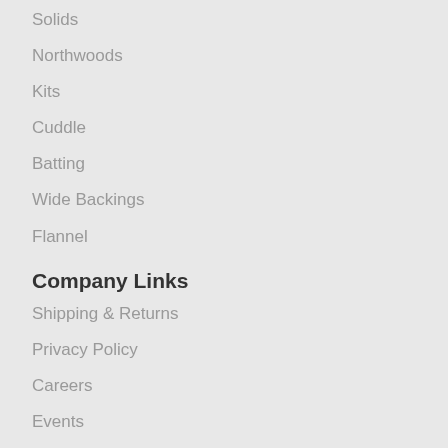Solids
Northwoods
Kits
Cuddle
Batting
Wide Backings
Flannel
Company Links
Shipping & Returns
Privacy Policy
Careers
Events
Clubs & BOMs
Retreat Center
Cafe